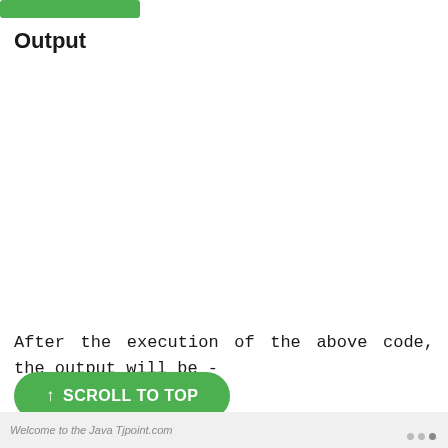[Figure (other): Green button/bar at top of page]
Output
After the execution of the above code, the output will be -
[Figure (screenshot): Green scroll-to-top button with upward arrow and text SCROLL TO TOP]
Welcome to the Java Tjpoint.com